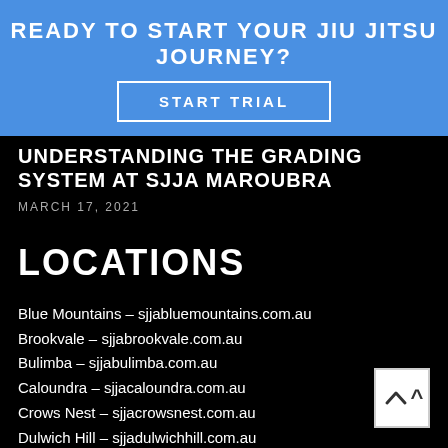READY TO START YOUR JIU JITSU JOURNEY?
START TRIAL
UNDERSTANDING THE GRADING SYSTEM AT SJJA MAROUBRA
MARCH 17, 2021
LOCATIONS
Blue Mountains – sjjabluemountains.com.au
Brookvale – sjjabrookvale.com.au
Bulimba – sjjabulimba.com.au
Caloundra – sjjacaloundra.com.au
Crows Nest – sjjacrowsnest.com.au
Dulwich Hill – sjjadulwichhill.com.au
Gladesville – sjjagladesville.com.au
Hornsby – sjjahornsby.com.au